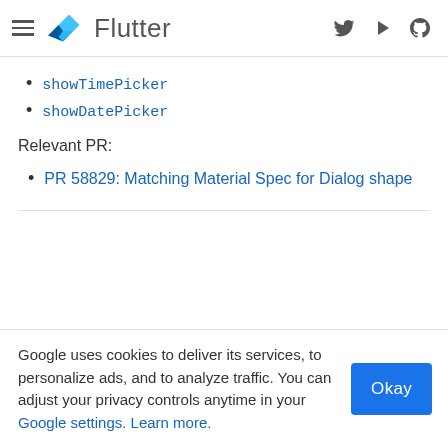Flutter
showTimePicker
showDatePicker
Relevant PR:
PR 58829: Matching Material Spec for Dialog shape
Google uses cookies to deliver its services, to personalize ads, and to analyze traffic. You can adjust your privacy controls anytime in your Google settings. Learn more.